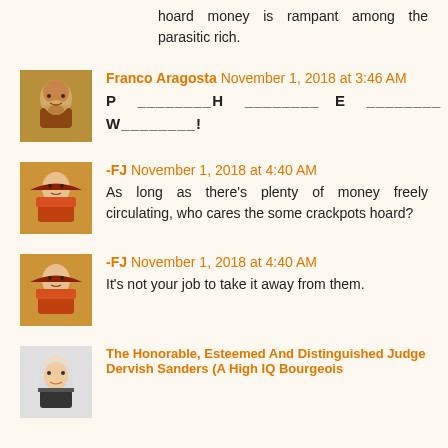hoard money is rampant among the parasitic rich.
[Figure (photo): Avatar of Franco Aragosta - elderly bearded man]
Franco Aragosta November 1, 2018 at 3:46 AM
P ________ H ________ E ________ W________!
[Figure (photo): Avatar of -FJ - person in historical costume]
-FJ November 1, 2018 at 4:40 AM
As long as there's plenty of money freely circulating, who cares the some crackpots hoard?
[Figure (photo): Avatar of -FJ - person in historical costume]
-FJ November 1, 2018 at 4:40 AM
It's not your job to take it away from them.
[Figure (photo): Avatar of The Honorable, Esteemed And Distinguished Judge Dervish Sanders - elderly man]
The Honorable, Esteemed And Distinguished Judge Dervish Sanders (A High IQ Bourgeois